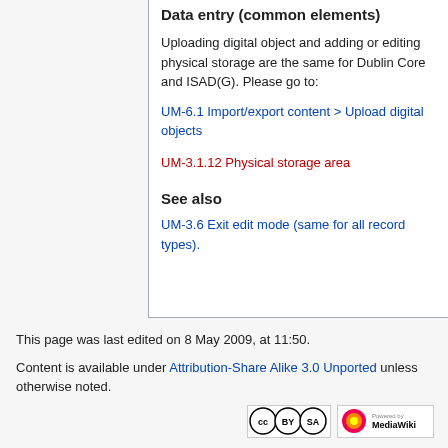Data entry (common elements)
Uploading digital object and adding or editing physical storage are the same for Dublin Core and ISAD(G). Please go to:
UM-6.1 Import/export content > Upload digital objects
UM-3.1.12 Physical storage area
See also
UM-3.6 Exit edit mode (same for all record types).
This page was last edited on 8 May 2009, at 11:50.
Content is available under Attribution-Share Alike 3.0 Unported unless otherwise noted.